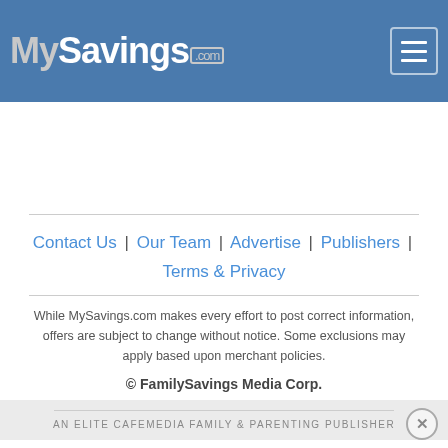MySavings.com
Contact Us  |  Our Team  |  Advertise  |  Publishers  |  Terms & Privacy
While MySavings.com makes every effort to post correct information, offers are subject to change without notice. Some exclusions may apply based upon merchant policies.
© FamilySavings Media Corp.
AN ELITE CAFEMEDIA FAMILY & PARENTING PUBLISHER